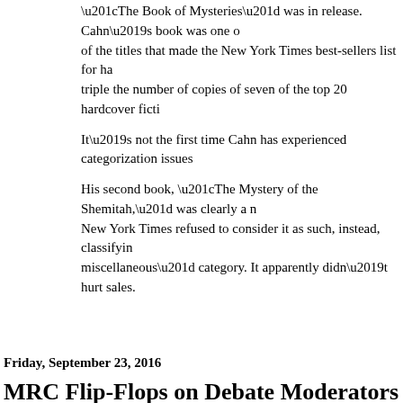“The Book of Mysteries” was in release. Cahn’s book was one of the titles that made the New York Times best-sellers list for ha triple the number of copies of seven of the top 20 hardcover ficti
It’s not the first time Cahn has experienced categorization issues
His second book, “The Mystery of the Shemitah,” was clearly a n New York Times refused to consider it as such, instead, classifyin miscellaneous” category. It apparently didn’t hurt sales.
Friday, September 23, 2016
MRC Flip-Flops on Debate Moderators Vetti
Topic: Media Research Center
Tim Graham and Brent Bozell whine in their Sept. 21 column about pre debate moderators:
Already, Fox’s Chris Wallace drew liberal outrage by declaring: “ believe that it’s my job to be a truth squad. It’s up to the other per